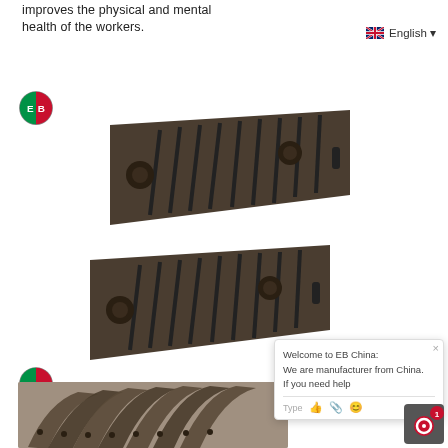improves the physical and mental health of the workers.
[Figure (screenshot): English language selector with UK flag icon]
[Figure (logo): EB circular logo, red and green split circle]
[Figure (photo): Two dark gray/brown cast iron grated wedge-shaped plates with slots and holes, shown stacked slightly offset]
[Figure (logo): EB circular logo, red and green split circle]
[Figure (photo): Partial view of curved cast iron grated panels arranged in a fan/arc shape on ground]
[Figure (screenshot): Live chat widget popup: Welcome to EB China, manufacturer from China message, with type bar and icons]
[Figure (screenshot): Notification badge icon bottom right corner]